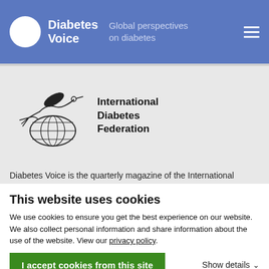Diabetes Voice — Global perspectives on diabetes
[Figure (logo): International Diabetes Federation logo: hummingbird above a globe, with text 'International Diabetes Federation']
Diabetes Voice is the quarterly magazine of the International
This website uses cookies
We use cookies to ensure you get the best experience on our website. We also collect personal information and share information about the use of the website. View our privacy policy.
I accept cookies from this site
Show details